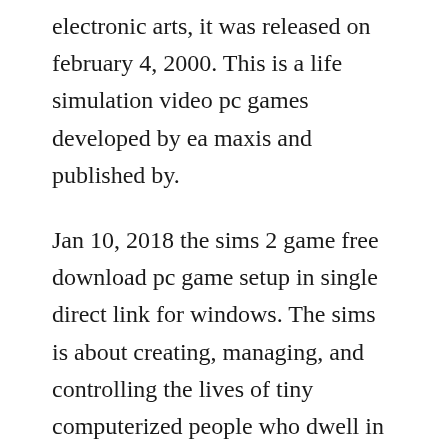electronic arts, it was released on february 4, 2000. This is a life simulation video pc games developed by ea maxis and published by.
Jan 10, 2018 the sims 2 game free download pc game setup in single direct link for windows. The sims is about creating, managing, and controlling the lives of tiny computerized people who dwell in miniature homes. On february 4, 2000, the game has sold over 16 million copies making it the. A sim will be conceived when a female sim and a male sim strive for a child. Players must